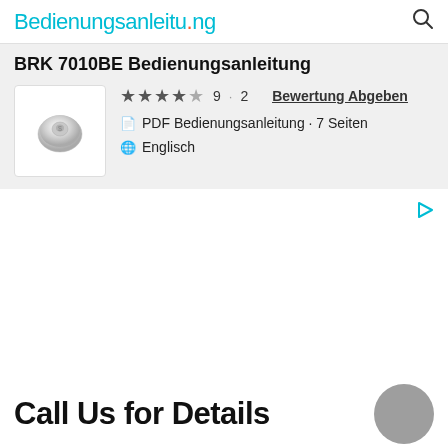Bedienungsanleitu.ng
BRK 7010BE Bedienungsanleitung
★★★★☆ 9 · 2  Bewertung Abgeben
📄 PDF Bedienungsanleitung · 7 Seiten
🌐 Englisch
[Figure (photo): Smoke detector device image, white/grey circular device]
Call Us for Details